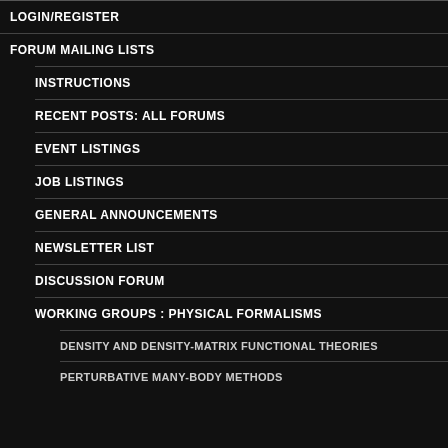LOGIN/REGISTER
FORUM MAILING LISTS
INSTRUCTIONS
RECENT POSTS: ALL FORUMS
EVENT LISTINGS
JOB LISTINGS
GENERAL ANNOUNCEMENTS
NEWSLETTER LIST
DISCUSSION FORUM
WORKING GROUPS : PHYSICAL FORMALISMS
DENSITY AND DENSITY-MATRIX FUNCTIONAL THEORIES
PERTURBATIVE MANY-BODY METHODS